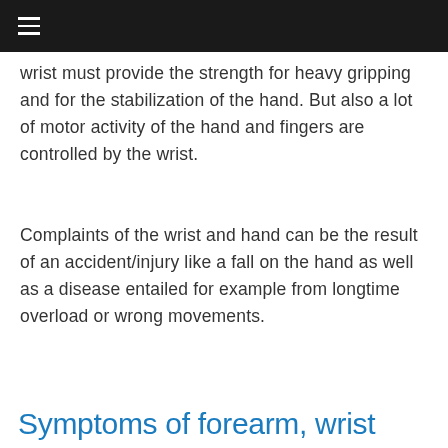≡
wrist must provide the strength for heavy gripping and for the stabilization of the hand. But also a lot of motor activity of the hand and fingers are controlled by the wrist.
Complaints of the wrist and hand can be the result of an accident/injury like a fall on the hand as well as a disease entailed for example from longtime overload or wrong movements.
Symptoms of forearm, wrist